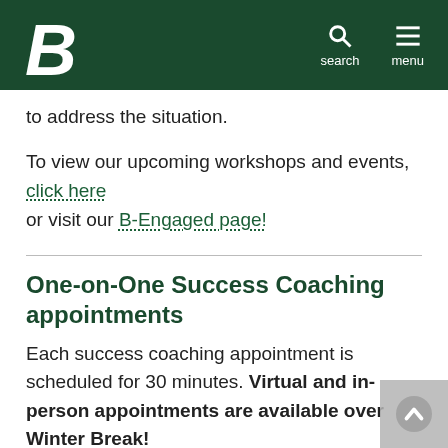Boise State University navigation bar with logo, search, and menu
to address the situation.
To view our upcoming workshops and events, click here or visit our B-Engaged page!
One-on-One Success Coaching appointments
Each success coaching appointment is scheduled for 30 minutes. Virtual and in-person appointments are available over Winter Break!
To reserve a time that works best for you, click on the link below to view available appointments and schedule directly with a Success Coach using the B-Succesful